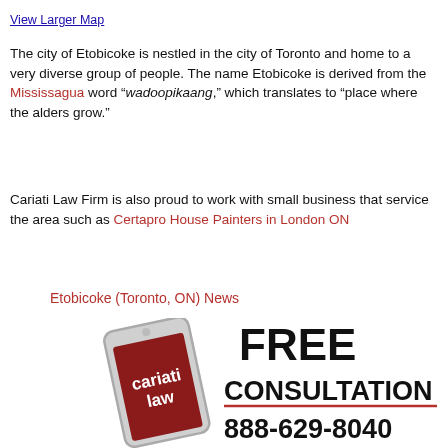View Larger Map
The city of Etobicoke is nestled in the city of Toronto and home to a very diverse group of people. The name Etobicoke is derived from the Mississagua word “wadoopikaang,” which translates to “place where the alders grow.”
Cariati Law Firm is also proud to work with small business that service the area such as Certapro House Painters in London ON
Etobicoke (Toronto, ON) News
[Figure (infographic): Advertisement for Cariati Law showing a tilted smartphone with 'cariati law' branding on a dark red screen, alongside large bold text reading FREE CONSULTATION 888-629-8040]